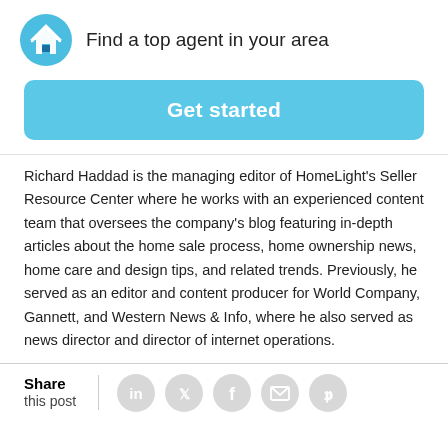Find a top agent in your area
Get started
Richard Haddad is the managing editor of HomeLight's Seller Resource Center where he works with an experienced content team that oversees the company's blog featuring in-depth articles about the home sale process, home ownership news, home care and design tips, and related trends. Previously, he served as an editor and content producer for World Company, Gannett, and Western News & Info, where he also served as news director and director of internet operations.
Share this post